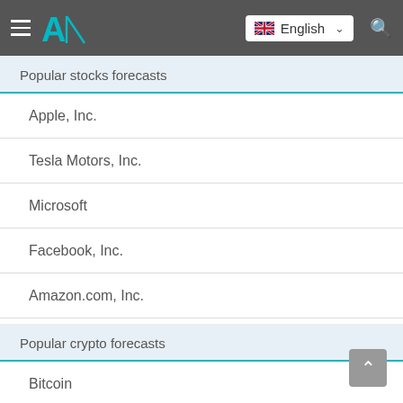Navigation bar with hamburger menu, logo, English language selector, and search icon
Popular stocks forecasts
Apple, Inc.
Tesla Motors, Inc.
Microsoft
Facebook, Inc.
Amazon.com, Inc.
Popular crypto forecasts
Bitcoin
Ethereum
Litecoin